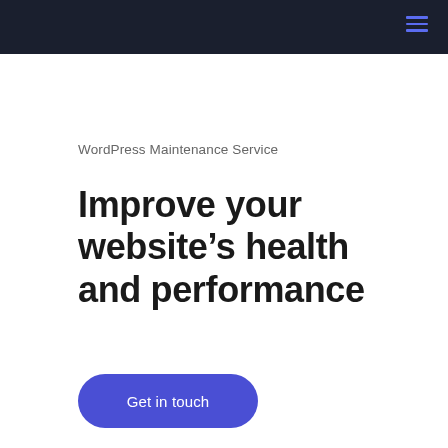WordPress Maintenance Service
Improve your website’s health and performance
Get in touch